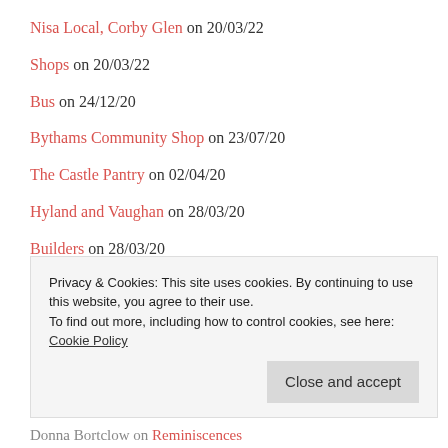Nisa Local, Corby Glen on 20/03/22
Shops on 20/03/22
Bus on 24/12/20
Bythams Community Shop on 23/07/20
The Castle Pantry on 02/04/20
Hyland and Vaughan on 28/03/20
Builders on 28/03/20
Painters & Decorators on 28/03/20
Glenside News on 28/03/20
Privacy & Cookies: This site uses cookies. By continuing to use this website, you agree to their use. To find out more, including how to control cookies, see here: Cookie Policy
Donna Bortclow on Reminiscences